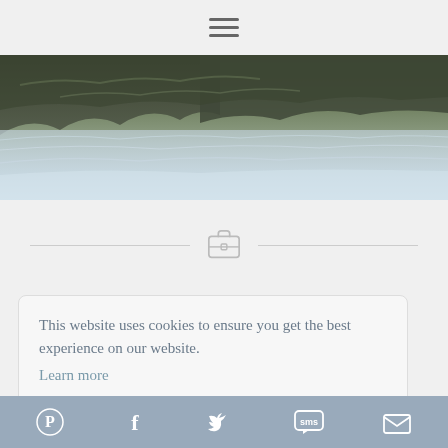[Figure (screenshot): Website screenshot showing a navigation hamburger menu icon at the top center, a hero landscape/seascape photo with rocks and misty water, a divider line with briefcase icon, and a cookie consent dialog box with 'Got it!' button. Bottom has a social sharing bar with Pinterest, Facebook, Twitter, SMS, and email icons.]
This website uses cookies to ensure you get the best experience on our website.
Learn more
Got it!